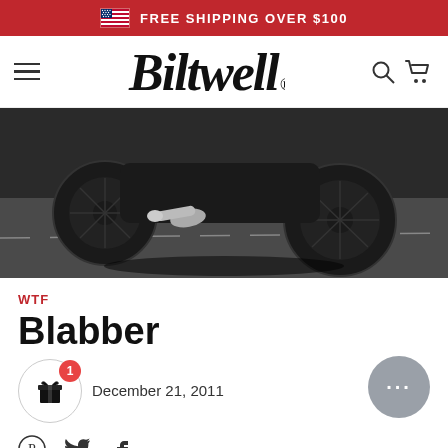FREE SHIPPING OVER $100
[Figure (logo): Biltwell script logo with hamburger menu, search icon, and cart icon on white navbar]
[Figure (photo): Close-up of a motorcycle wheel and exhaust pipe on pavement, dark/moody lighting]
WTF
Blabber
December 21, 2011